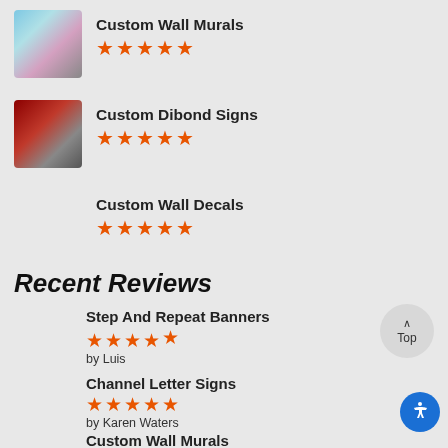[Figure (photo): Thumbnail image of a colorful wall mural with graffiti-style art]
Custom Wall Murals
[Figure (infographic): 5 orange stars rating]
[Figure (photo): Thumbnail image of custom Dibond signs — dark red panels]
Custom Dibond Signs
[Figure (infographic): 5 orange stars rating]
Custom Wall Decals
[Figure (infographic): 5 orange stars rating]
Recent Reviews
Step And Repeat Banners
[Figure (infographic): 4.5 orange stars rating]
by Luis
Channel Letter Signs
[Figure (infographic): 5 orange stars rating]
by Karen Waters
Custom Wall Murals
[Figure (infographic): 5 orange stars rating]
by VTK, Marriott International